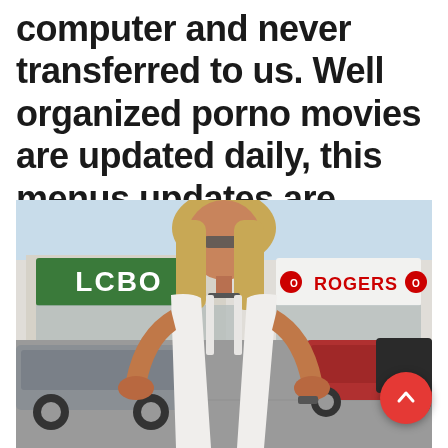computer and never transferred to us. Well organized porno movies are updated daily, this menus updates are based on your activity.
[Figure (photo): Woman with blonde hair and glasses wearing a white tank top, standing in a parking lot in front of LCBO and Rogers stores.]